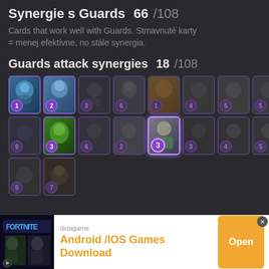Synergie s Guards  66/108
Cards that work well with Guards. Stmavnuté karty = menej efektívne, no stále synergia.
Guards attack synergies  18/108
[Figure (screenshot): Grid of Clash Royale card thumbnails showing Guards attack synergies, 18 cards total arranged in 3 rows, each card showing a cost number badge. One card in row 2 is highlighted with bright purple border (cost 3).]
[Figure (screenshot): Advertisement banner: Fortnite themed ad for didagame, Android/IOS Games Download, with orange Open button.]